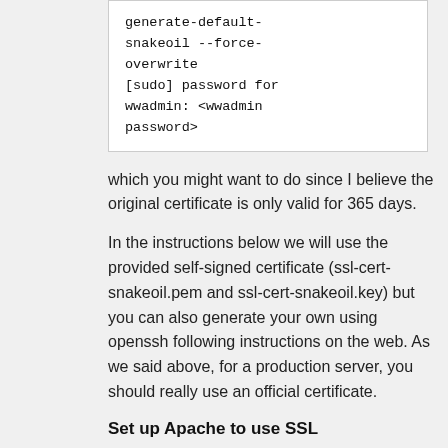generate-default-snakeoil --force-overwrite
[sudo] password for wwadmin: <wwadmin password>
which you might want to do since I believe the original certificate is only valid for 365 days.
In the instructions below we will use the provided self-signed certificate (ssl-cert-snakeoil.pem and ssl-cert-snakeoil.key) but you can also generate your own using openssh following instructions on the web. As we said above, for a production server, you should really use an official certificate.
Set up Apache to use SSL